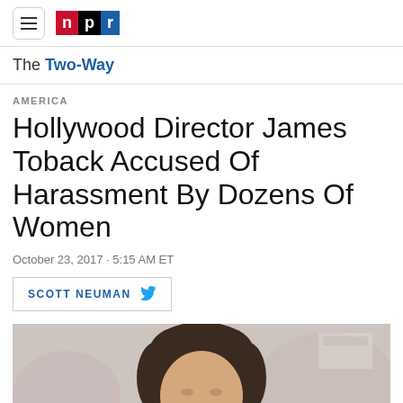npr
The Two-Way
AMERICA
Hollywood Director James Toback Accused Of Harassment By Dozens Of Women
October 23, 2017 · 5:15 AM ET
SCOTT NEUMAN
[Figure (photo): Photo of James Toback, a man with dark hair, at what appears to be an event with a white background]